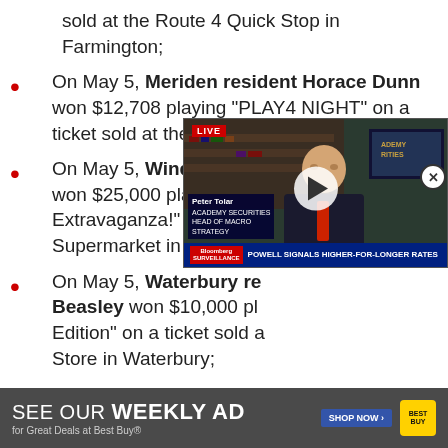sold at the Route 4 Quick Stop in Farmington;
On May 5, Meriden resident Horace Dunn won $12,708 playing "PLAY4 NIGHT" on a ticket sold at the H&H Mart in Meriden;
On May 5, Windsor resident Viola Whilby won $25,000 playing "$500,000 Extravaganza!" on a ticket sold at Geissler's Supermarket in Windsor;
On May 5, Waterbury resident Beasley won $10,000 playing "Edition" on a ticket sold at the Store in Waterbury;
[Figure (screenshot): Bloomberg TV video overlay showing a LIVE broadcast. A man in a suit with a red tie is seated. Lower third shows name 'Peter Tolar, Academy Securities, Head of Macro Strategy'. Ticker reads 'POWELL SIGNALS HIGHER-FOR-LONGER RATES'. Play button visible.]
[Figure (infographic): Best Buy advertisement banner: 'SEE OUR WEEKLY AD for Great Deals at Best Buy® SHOP NOW' with Best Buy yellow logo on dark grey background.]